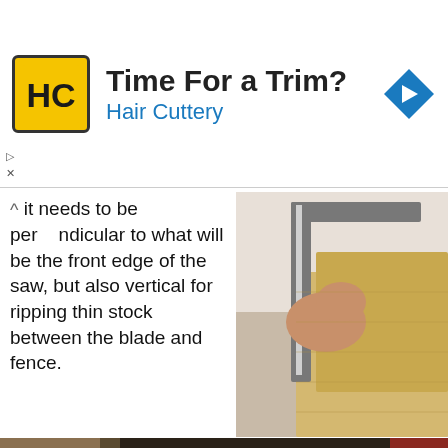[Figure (infographic): Hair Cuttery advertisement banner with yellow HC logo, title 'Time For a Trim?', subtitle 'Hair Cuttery', and blue diamond arrow icon on the right]
it needs to be perpendicular to what will be the front edge of the saw, but also vertical for ripping thin stock between the blade and fence.
[Figure (photo): Close-up of a hand using a metal square/try-square tool against a wooden edge or surface]
[Figure (photo): A person's hand placing or adjusting a wooden panel/fence on a table saw surface with a blue router bit insert visible]